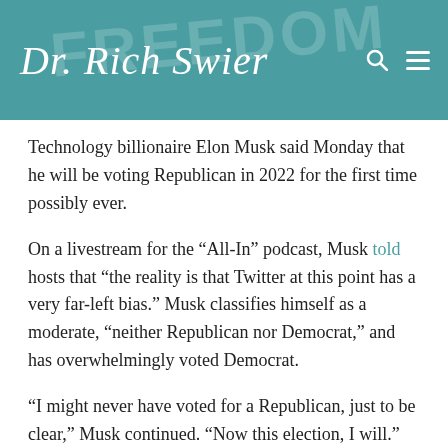Dr. Rich Swier
Technology billionaire Elon Musk said Monday that he will be voting Republican in 2022 for the first time possibly ever.
On a livestream for the “All-In” podcast, Musk told hosts that “the reality is that Twitter at this point has a very far-left bias.” Musk classifies himself as a moderate, “neither Republican nor Democrat,” and has overwhelmingly voted Democrat.
“I might never have voted for a Republican, just to be clear,” Musk continued. “Now this election, I will.” His comments were met with laughter